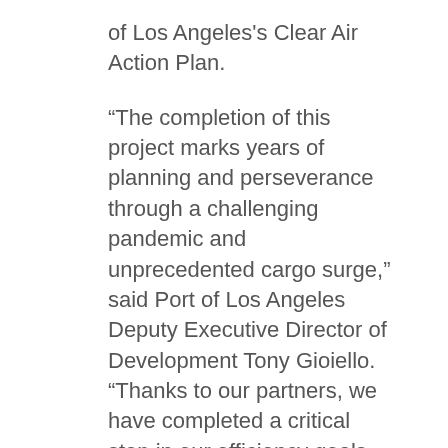of Los Angeles's Clear Air Action Plan.
“The completion of this project marks years of planning and perseverance through a challenging pandemic and unprecedented cargo surge,” said Port of Los Angeles Deputy Executive Director of Development Tony Gioiello. “Thanks to our partners, we have completed a critical step in our efficiency goals, ensuring the Everport Terminal’s readiness to receive the next generation of container vessels.”
The construction of Everport container terminal included: berth deepening; mooring bollard and berthing fender replacement; and installation of additional...